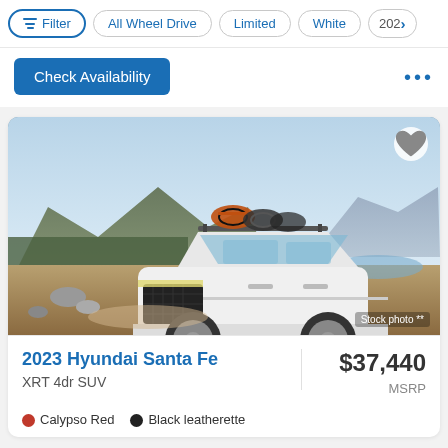Filter | All Wheel Drive | Limited | White | 202›
Check Availability
[Figure (photo): 2023 Hyundai Santa Fe XRT SUV in white with bicycles on roof rack, mountain landscape background. Stock photo.]
2023 Hyundai Santa Fe
XRT 4dr SUV
$37,440
MSRP
Calypso Red  Black leatherette